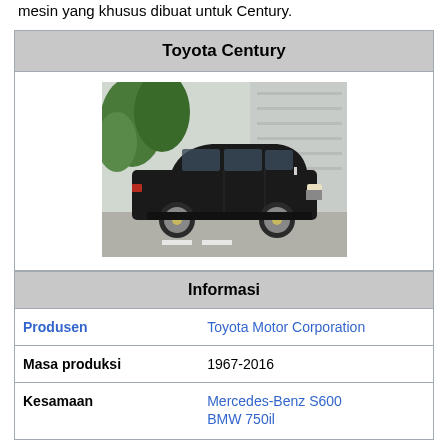mesin yang khusus dibuat untuk Century.
| Toyota Century |
| --- |
| [image of Toyota Century black sedan] |
| Informasi |
| Produsen | Toyota Motor Corporation |
| Masa produksi | 1967-2016 |
| Kesamaan | Mercedes-Benz S600
BMW 750il |